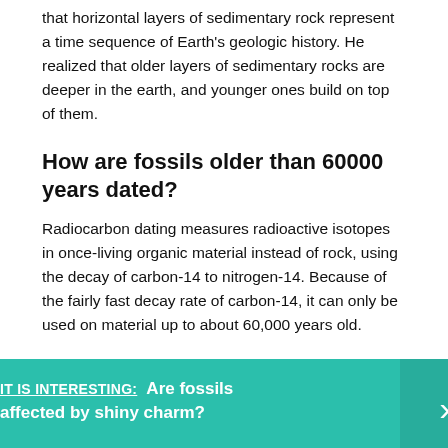that horizontal layers of sedimentary rock represent a time sequence of Earth's geologic history. He realized that older layers of sedimentary rocks are deeper in the earth, and younger ones build on top of them.
How are fossils older than 60000 years dated?
Radiocarbon dating measures radioactive isotopes in once-living organic material instead of rock, using the decay of carbon-14 to nitrogen-14. Because of the fairly fast decay rate of carbon-14, it can only be used on material up to about 60,000 years old.
[Figure (infographic): Teal callout box with text: IT IS INTERESTING: Are fossils affected by shiny charm? with a right-pointing chevron arrow on a darker teal panel on the right side.]
What are the three characteristics of a good index fossil?